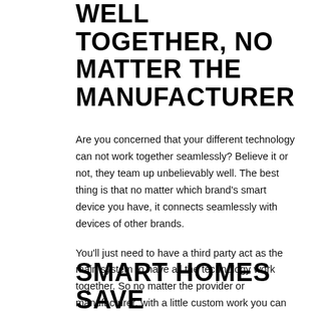WELL TOGETHER, NO MATTER THE MANUFACTURER
Are you concerned that your different technology can not work together seamlessly? Believe it or not, they team up unbelievably well. The best thing is that no matter which brand's smart device you have, it connects seamlessly with devices of other brands.
You'll just need to have a third party act as the main system to have all the technology work together. So no matter the provider or manufacturer, with a little custom work you can have a diverse system that works seamlessly.
SMART HOMES SAVE